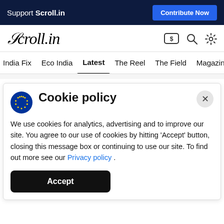Support Scroll.in  Contribute Now
[Figure (logo): Scroll.in logo in italic serif font with icons for subscription, search, and settings]
India Fix  Eco India  Latest  The Reel  The Field  Magazine
Cookie policy
We use cookies for analytics, advertising and to improve our site. You agree to our use of cookies by hitting 'Accept' button, closing this message box or continuing to use our site. To find out more see our Privacy policy .
Accept